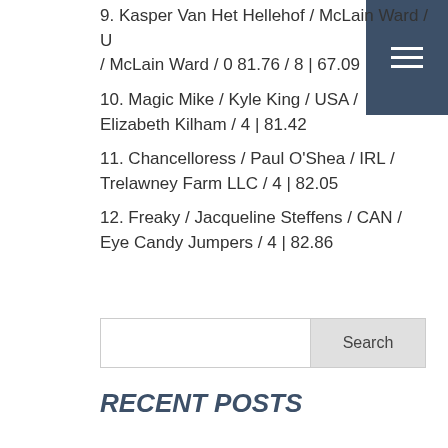9. Kasper Van Het Hellehof / McLain Ward / U / McLain Ward / 0 81.76 / 8 | 67.09
10. Magic Mike / Kyle King / USA / Elizabeth Kilham / 4 | 81.42
11. Chancelloress / Paul O'Shea / IRL / Trelawney Farm LLC / 4 | 82.05
12. Freaky / Jacqueline Steffens / CAN /  Eye Candy Jumpers / 4 | 82.86
RECENT POSTS